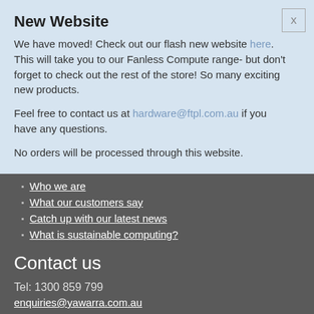New Website
We have moved! Check out our flash new website here. This will take you to our Fanless Compute range- but don't forget to check out the rest of the store! So many exciting new products.
Feel free to contact us at hardware@ftpl.com.au if you have any questions.
No orders will be processed through this website.
Who we are
What our customers say
Catch up with our latest news
What is sustainable computing?
Contact us
Tel: 1300 859 799
enquiries@yawarra.com.au
Or follow us